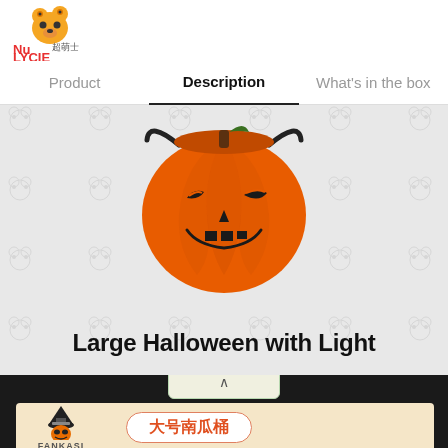[Figure (logo): NuLYCIE brand logo with bear icon and Chinese text]
Product   Description   What's in the box
[Figure (photo): Orange Halloween jack-o'-lantern pumpkin bucket with black face]
Large Halloween with Light
[Figure (illustration): Dark panel with popup chevron box and Fankasi card showing witch pumpkin logo and 大号南瓜桶 text button]